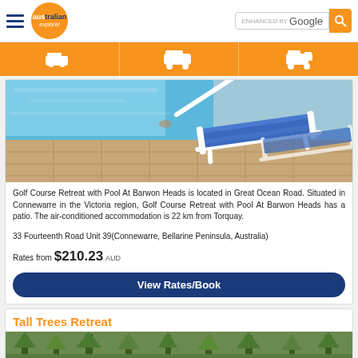Australian Explorer — ENHANCED BY Google search header
[Figure (screenshot): Navigation bar with accommodation, transport, and car rental icons on orange background]
[Figure (photo): Swimming pool with blue lounger chairs on tiled deck]
Golf Course Retreat with Pool At Barwon Heads is located in Great Ocean Road. Situated in Connewarre in the Victoria region, Golf Course Retreat with Pool At Barwon Heads has a patio. The air-conditioned accommodation is 22 km from Torquay.
33 Fourteenth Road Unit 39(Connewarre, Bellarine Peninsula, Australia)
Rates from $210.23 AUD
View Rates/Book
Tall Trees Retreat
[Figure (photo): Partial view of Tall Trees Retreat with trees]